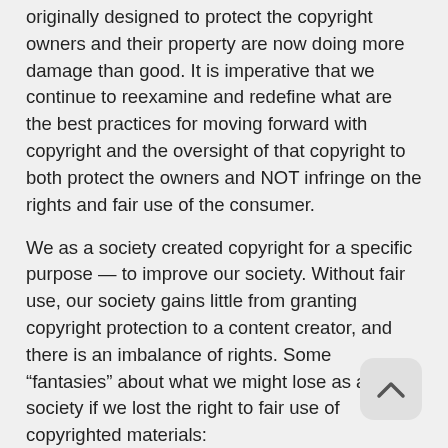originally designed to protect the copyright owners and their property are now doing more damage than good. It is imperative that we continue to reexamine and redefine what are the best practices for moving forward with copyright and the oversight of that copyright to both protect the owners and NOT infringe on the rights and fair use of the consumer.
We as a society created copyright for a specific purpose — to improve our society. Without fair use, our society gains little from granting copyright protection to a content creator, and there is an imbalance of rights. Some “fantasies” about what we might lose as a society if we lost the right to fair use of copyrighted materials:
Imagine that you couldn’t lend a book to a friend without the copyright holder’s permission.